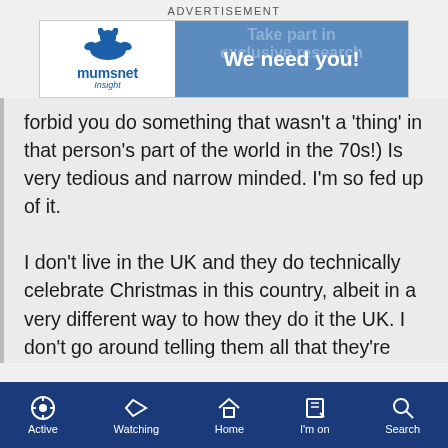ADVERTISEMENT
[Figure (screenshot): Mumsnet Insight advertisement banner with logo on left and 'We need you!' text on blue background on right]
forbid you do something that wasn't a 'thing' in that person's part of the world in the 70s!) Is very tedious and narrow minded. I'm so fed up of it.

I don't live in the UK and they do technically celebrate Christmas in this country, albeit in a very different way to how they do it the UK. I don't go around telling them all that they're doing it wrong, because I'm not a wanker. They don't come into my house and sneer at my decorations being up from December 1st. One year we invited a few people over for Christmas
Active  Watching  Home  I'm on  Search